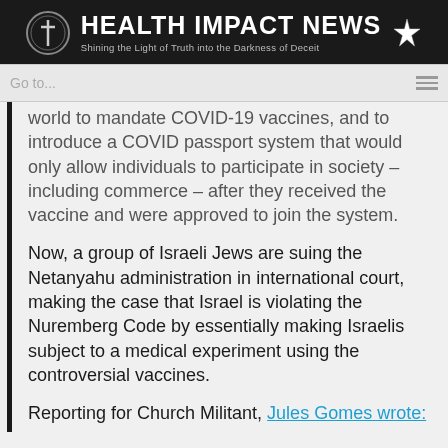HEALTH IMPACT NEWS — Shining the Light of Truth into the Darkness of Deceit
Go to...
world to mandate COVID-19 vaccines, and to introduce a COVID passport system that would only allow individuals to participate in society – including commerce – after they received the vaccine and were approved to join the system.
Now, a group of Israeli Jews are suing the Netanyahu administration in international court, making the case that Israel is violating the Nuremberg Code by essentially making Israelis subject to a medical experiment using the controversial vaccines.
Reporting for Church Militant, Jules Gomes wrote: